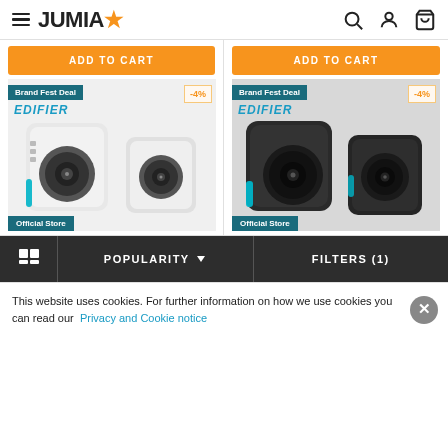JUMIA - e-commerce header with hamburger menu, logo, search, account, and cart icons
[Figure (screenshot): Two product cards showing Edifier speaker sets. Left card: white speakers with 'Brand Fest Deal' badge and -4% discount, 'ADD TO CART' orange button. Right card: black speakers with 'Brand Fest Deal' badge and -4% discount, 'ADD TO CART' orange button. Both show EDIFIER logo and Official Store badge.]
POPULARITY ▾  FILTERS (1)
This website uses cookies. For further information on how we use cookies you can read our Privacy and Cookie notice